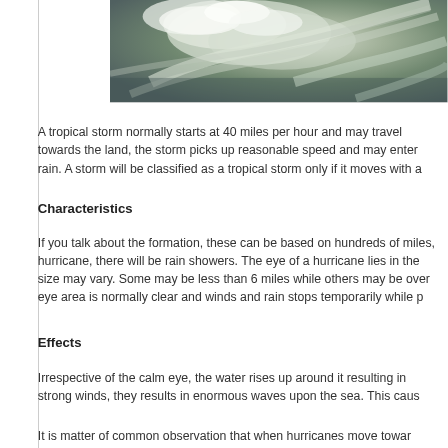[Figure (photo): Satellite or aerial photograph of a tropical storm or hurricane showing cloud formations and storm structure from above.]
A tropical storm normally starts at 40 miles per hour and may travel towards the land, the storm picks up reasonable speed and may enter rain. A storm will be classified as a tropical storm only if it moves with a
Characteristics
If you talk about the formation, these can be based on hundreds of miles, hurricane, there will be rain showers. The eye of a hurricane lies in the size may vary. Some may be less than 6 miles while others may be over eye area is normally clear and winds and rain stops temporarily while p
Effects
Irrespective of the calm eye, the water rises up around it resulting in strong winds, they results in enormous waves upon the sea. This caus
It is matter of common observation that when hurricanes move towar